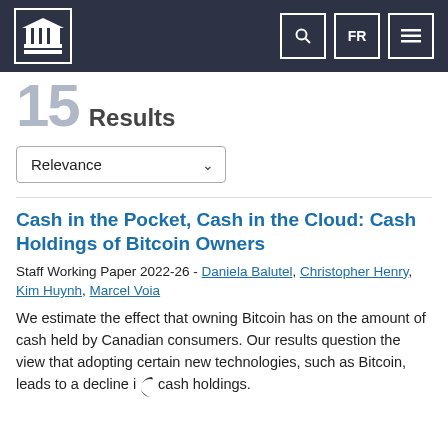15 Results
Relevance (dropdown)
Cash in the Pocket, Cash in the Cloud: Cash Holdings of Bitcoin Owners
Staff Working Paper 2022-26 - Daniela Balutel, Christopher Henry, Kim Huynh, Marcel Voia
We estimate the effect that owning Bitcoin has on the amount of cash held by Canadian consumers. Our results question the view that adopting certain new technologies, such as Bitcoin, leads to a decline in cash holdings.